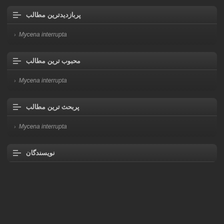پربازدیدترین مطالب
Mycena interrupta
محبوب ترین مطالب
Mycena interrupta
پربحث ترین مطالب
Mycena interrupta
نویسندگان